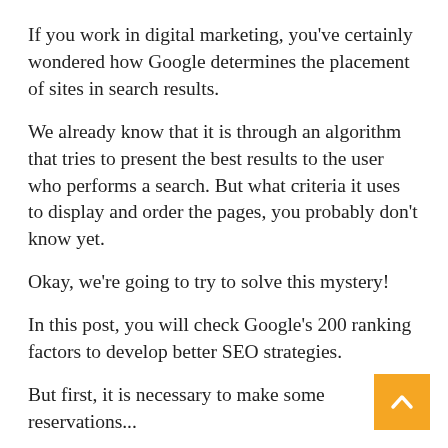If you work in digital marketing, you've certainly wondered how Google determines the placement of sites in search results.
We already know that it is through an algorithm that tries to present the best results to the user who performs a search. But what criteria it uses to display and order the pages, you probably don't know yet.
Okay, we're going to try to solve this mystery!
In this post, you will check Google's 200 ranking factors to develop better SEO strategies.
But first, it is necessary to make some reservations...
What is Google's list of 200